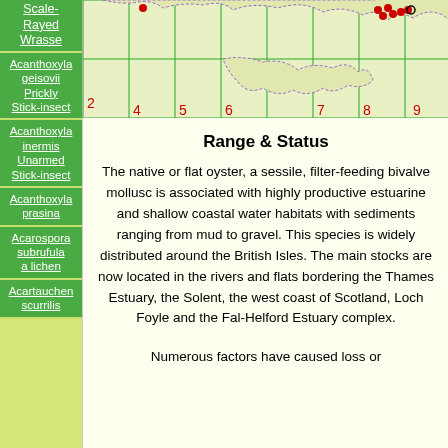[Figure (map): Distribution map of a species across a grid map of Britain and Ireland, showing red dots indicating occurrences, with grid coordinates visible (numbers 2, 4, 5, 6, 7, 8, 9 along bottom and sides).]
Range & Status
The native or flat oyster, a sessile, filter-feeding bivalve mollusc is associated with highly productive estuarine and shallow coastal water habitats with sediments ranging from mud to gravel. This species is widely distributed around the British Isles. The main stocks are now located in the rivers and flats bordering the Thames Estuary, the Solent, the west coast of Scotland, Loch Foyle and the Fal-Helford Estuary complex.
Numerous factors have caused loss or
Scale-Rayed Wrasse
Acanthoxyla geisovii Prickly Stick-insect
Acanthoxyla inermis Unarmed Stick-insect
Acanthoxyla prasina
Acarospora subrufula a lichen
Acartauchen scurrilis